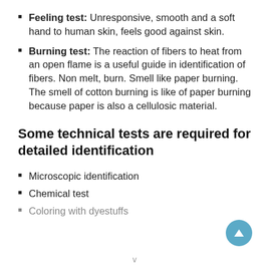Feeling test: Unresponsive, smooth and a soft hand to human skin, feels good against skin.
Burning test: The reaction of fibers to heat from an open flame is a useful guide in identification of fibers. Non melt, burn. Smell like paper burning. The smell of cotton burning is like of paper burning because paper is also a cellulosic material.
Some technical tests are required for detailed identification
Microscopic identification
Chemical test
Coloring with dyestuffs